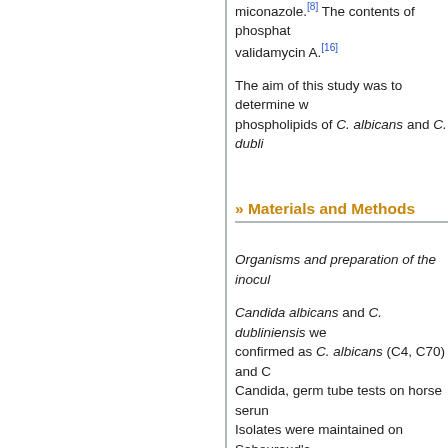miconazole.[8] The contents of phosphat... validamycin A.[16]
The aim of this study was to determine w... phospholipids of C. albicans and C. dubli...
» Materials and Methods
Organisms and preparation of the inocul...
Candida albicans and C. dubliniensis we... confirmed as C. albicans (C4, C70) and C... Candida, germ tube tests on horse serum... Isolates were maintained on Sabouraud's...
Synchronous cultures were prepared acc... incubated at 37oC for 24 h. Yeast cells w... prepare a suspension. The suspension w... to result in a suspension containing abou...
Test method
Sixty-four mg of amphotericin B (Sigma, ... ml of dimethyl sulphoxide (Sigma) at 128... stored at -70oC for up to 1 month. The st... Serial dilutions of antifungals (nystatin an...